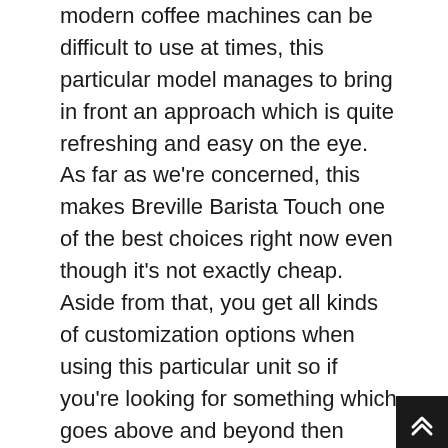modern coffee machines can be difficult to use at times, this particular model manages to bring in front an approach which is quite refreshing and easy on the eye. As far as we're concerned, this makes Breville Barista Touch one of the best choices right now even though it's not exactly cheap. Aside from that, you get all kinds of customization options when using this particular unit so if you're looking for something which goes above and beyond then here's your solution.
That being said, there's a lot you need to know about what makes this coffee machine tick. To begin with, it has been created from the ground up as an excellent brewing device which strives to make your life easier when making coffee. Of course, Breville Barista Touch is not only good at making coffee but also other kinds of drinks as well because it comes with a milk frothing wand as well. In addition to that...